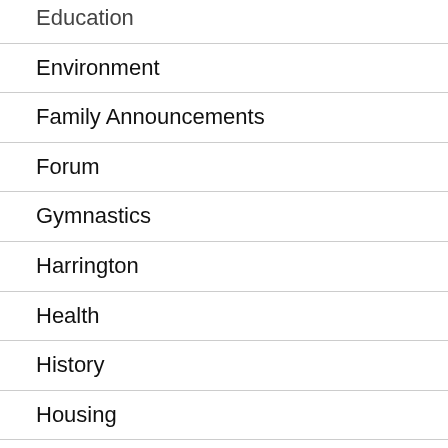Education
Environment
Family Announcements
Forum
Gymnastics
Harrington
Health
History
Housing
John Gulliver
Letters
LGBT